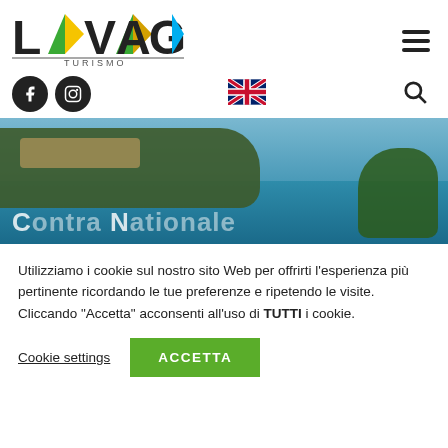[Figure (logo): Lavagna Turismo logo with colorful geometric triangles forming the letters, and 'TURISMO' text beneath]
[Figure (infographic): Navigation bar with Facebook icon, Instagram icon, UK flag, and search icon]
[Figure (photo): Coastal landscape photo showing a harbor with blue water, hillside buildings and trees - Lavagna tourism hero image with partial white text at bottom]
Utilizziamo i cookie sul nostro sito Web per offrirti l'esperienza più pertinente ricordando le tue preferenze e ripetendo le visite. Cliccando "Accetta" acconsenti all'uso di TUTTI i cookie.
Cookie settings
ACCETTA